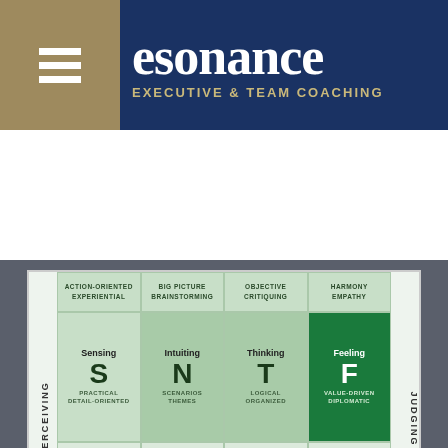[Figure (logo): Resonance Executive & Team Coaching logo with tan hamburger menu icon on left, white text on navy blue background]
[Figure (infographic): Cognitive functions grid showing MBTI-style perceiving/judging axes with Sensing (S), Intuiting (N), Thinking (T), Feeling (F) main cells and introverted versions Si, Ni, Ti, Fi below. Top row shows ACTION-ORIENTED/EXPERIENTIAL, BIG PICTURE/BRAINSTORMING, OBJECTIVE/CRITIQUING, HARMONY/EMPATHY. Middle row has S=PRACTICAL/DETAIL-ORIENTED, N=SCENARIOS/THEMES, T=LOGICAL/ORGANIZED, F=VALUE-DRIVEN/DIPLOMATIC (dark green). Bottom row has Si=CATALOGING/VERIFYING, Ni=VISIONARY/IMAGINATIVE, Ti=ANALYTICAL/PRECISE, Fi=IDEAL-DRIVEN/MEANINGFUL. Bottom banner: INTROVERTED ATTITUDE. Left label: PERCEIVING, Right label: JUDGING.]